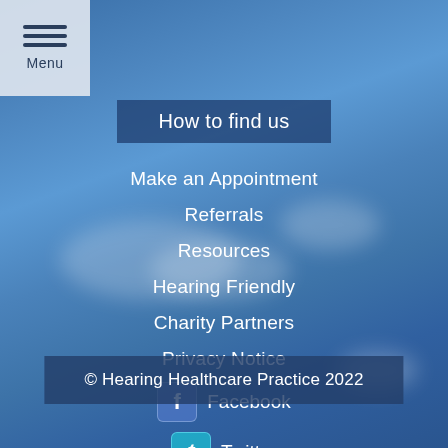[Figure (screenshot): Blue sky with clouds background]
Menu
How to find us
Make an Appointment
Referrals
Resources
Hearing Friendly
Charity Partners
Privacy Notice
Facebook
Twitter
© Hearing Healthcare Practice 2022